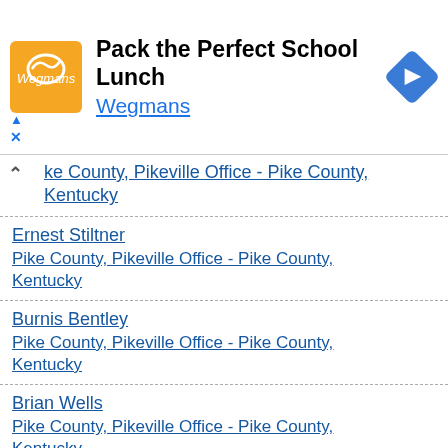[Figure (screenshot): Advertisement banner for Wegmans: Pack the Perfect School Lunch]
ke County, Pikeville Office - Pike County, Kentucky
Ernest Stiltner
Pike County, Pikeville Office - Pike County, Kentucky
Burnis Bentley
Pike County, Pikeville Office - Pike County, Kentucky
Brian Wells
Pike County, Pikeville Office - Pike County, Kentucky
Donald West
Pike County, Pikeville Office - Pike County, Kentucky